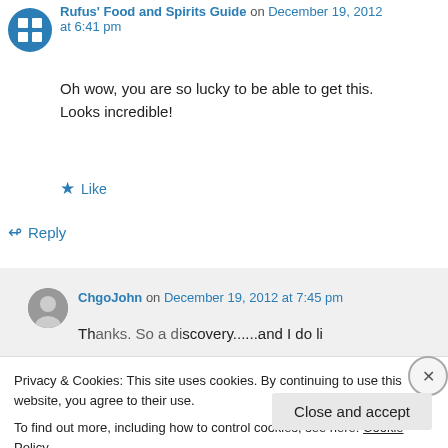Rufus' Food and Spirits Guide on December 19, 2012 at 6:41 pm
Oh wow, you are so lucky to be able to get this. Looks incredible!
★ Like
↪ Reply
ChgoJohn on December 19, 2012 at 7:45 pm
Privacy & Cookies: This site uses cookies. By continuing to use this website, you agree to their use. To find out more, including how to control cookies, see here: Cookie Policy
Close and accept